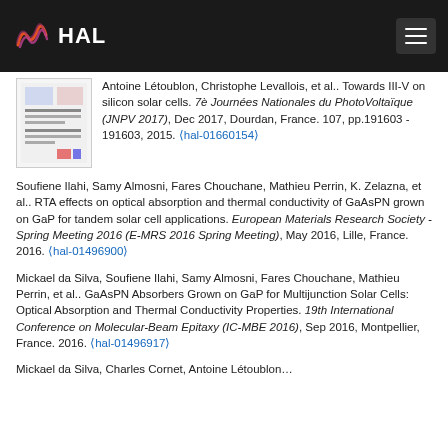HAL
Antoine Létoublon, Christophe Levallois, et al.. Towards III-V on silicon solar cells. 7è Journées Nationales du PhotoVoltaïque (JNPV 2017), Dec 2017, Dourdan, France. 107, pp.191603 - 191603, 2015. ⟨hal-01660154⟩
Soufiene Ilahi, Samy Almosni, Fares Chouchane, Mathieu Perrin, K. Zelazna, et al.. RTA effects on optical absorption and thermal conductivity of GaAsPN grown on GaP for tandem solar cell applications. European Materials Research Society - Spring Meeting 2016 (E-MRS 2016 Spring Meeting), May 2016, Lille, France. 2016. ⟨hal-01496900⟩
Mickael da Silva, Soufiene Ilahi, Samy Almosni, Fares Chouchane, Mathieu Perrin, et al.. GaAsPN Absorbers Grown on GaP for Multijunction Solar Cells: Optical Absorption and Thermal Conductivity Properties. 19th International Conference on Molecular-Beam Epitaxy (IC-MBE 2016), Sep 2016, Montpellier, France. 2016. ⟨hal-01496917⟩
Mickael da Silva, Charles Cornet, Antoine Létoublon…